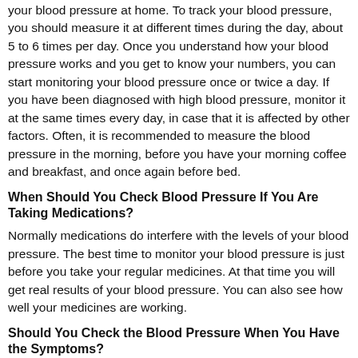your blood pressure at home. To track your blood pressure, you should measure it at different times during the day, about 5 to 6 times per day. Once you understand how your blood pressure works and you get to know your numbers, you can start monitoring your blood pressure once or twice a day. If you have been diagnosed with high blood pressure, monitor it at the same times every day, in case that it is affected by other factors. Often, it is recommended to measure the blood pressure in the morning, before you have your morning coffee and breakfast, and once again before bed.
When Should You Check Blood Pressure If You Are Taking Medications?
Normally medications do interfere with the levels of your blood pressure. The best time to monitor your blood pressure is just before you take your regular medicines. At that time you will get real results of your blood pressure. You can also see how well your medicines are working.
Should You Check the Blood Pressure When You Have the Symptoms?